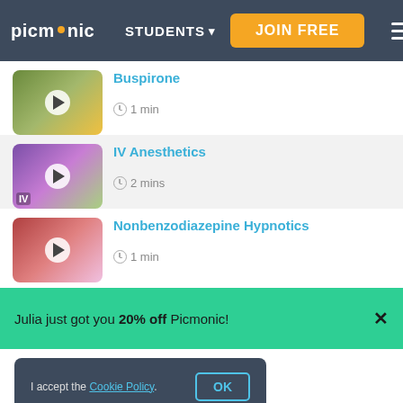picmonic | STUDENTS | JOIN FREE
Buspirone — 1 min
IV Anesthetics — 2 mins
Nonbenzodiazepine Hypnotics — 1 min
Julia just got you 20% off Picmonic!
I accept the Cookie Policy. OK